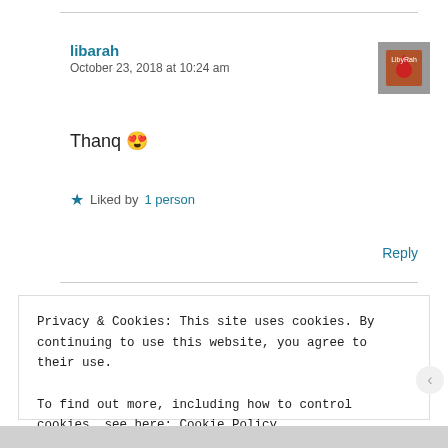libarah
October 23, 2018 at 10:24 am
Thanq 😍
★ Liked by 1 person
Reply
Privacy & Cookies: This site uses cookies. By continuing to use this website, you agree to their use.
To find out more, including how to control cookies, see here: Cookie Policy
Close and accept